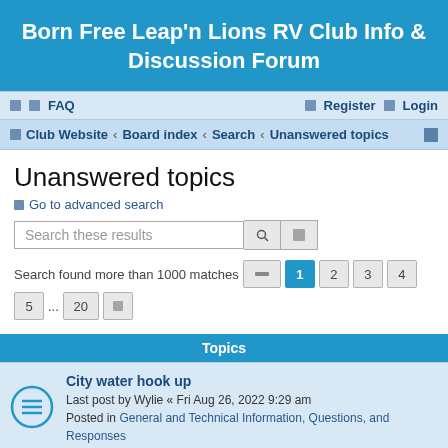Born Free Leap'n Lions RV Club Info & Discussion Forum
FAQ   Register   Login
Club Website · Board index · Search · Unanswered topics
Unanswered topics
Go to advanced search
Search these results
Search found more than 1000 matches   1 2 3 4 5 ... 20
Topics
City water hook up
Last post by Wylie « Fri Aug 26, 2022 9:29 am
Posted in General and Technical Information, Questions, and Responses
FOR SALE 2002 Born Free 24RB $36,500
Last post by KathyL « Sun Aug 21, 2022 1:43 pm
Posted in Born Free Coaches or Accessories FOR SALE
Replacement of side windows
Last post by Wylie « Wed Aug 03, 2022 3:34 pm
Posted in RV Repair Facilites in the SW Region